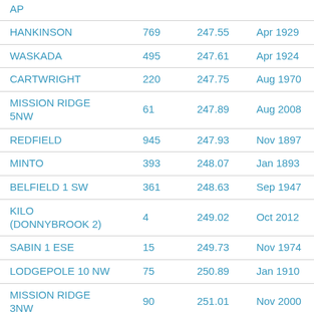| AP |  |  |  |
| HANKINSON | 769 | 247.55 | Apr 1929 |
| WASKADA | 495 | 247.61 | Apr 1924 |
| CARTWRIGHT | 220 | 247.75 | Aug 1970 |
| MISSION RIDGE 5NW | 61 | 247.89 | Aug 2008 |
| REDFIELD | 945 | 247.93 | Nov 1897 |
| MINTO | 393 | 248.07 | Jan 1893 |
| BELFIELD 1 SW | 361 | 248.63 | Sep 1947 |
| KILO (DONNYBROOK 2) | 4 | 249.02 | Oct 2012 |
| SABIN 1 ESE | 15 | 249.73 | Nov 1974 |
| LODGEPOLE 10 NW | 75 | 250.89 | Jan 1910 |
| MISSION RIDGE 3NW | 90 | 251.01 | Nov 2000 |
| WEBSTER | 776 | 251.09 | Jan 1893 |
| TURTLE MOUNTAIN | 272 | 251.22 | Apr 1981 |